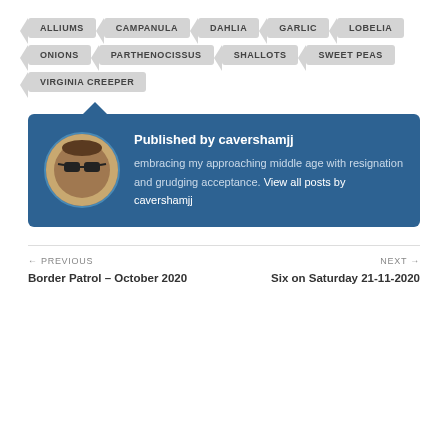ALLIUMS
CAMPANULA
DAHLIA
GARLIC
LOBELIA
ONIONS
PARTHENOCISSUS
SHALLOTS
SWEET PEAS
VIRGINIA CREEPER
Published by cavershamjj
embracing my approaching middle age with resignation and grudging acceptance. View all posts by cavershamjj
← PREVIOUS
Border Patrol – October 2020
NEXT →
Six on Saturday 21-11-2020